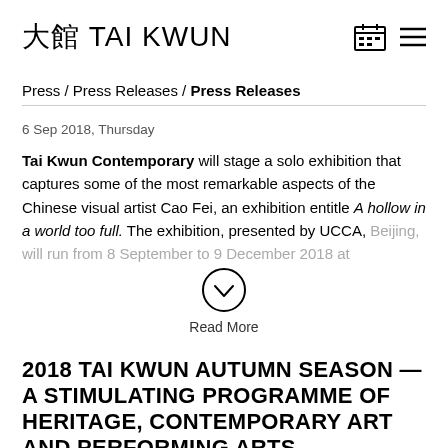大館 TAI KWUN
Press / Press Releases / Press Releases
6 Sep 2018, Thursday
Tai Kwun Contemporary will stage a solo exhibition that captures some of the most remarkable aspects of the Chinese visual artist Cao Fei, an exhibition entitle A hollow in a world too full. The exhibition, presented by UCCA, Beijing, will run from 8 September to 9 December 2018 at
Read More
2018 TAI KWUN AUTUMN SEASON — A STIMULATING PROGRAMME OF HERITAGE, CONTEMPORARY ART AND PERFORMING ARTS